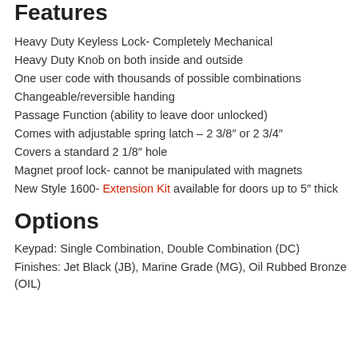Features
Heavy Duty Keyless Lock- Completely Mechanical
Heavy Duty Knob on both inside and outside
One user code with thousands of possible combinations
Changeable/reversible handing
Passage Function (ability to leave door unlocked)
Comes with adjustable spring latch – 2 3/8″ or 2 3/4″
Covers a standard 2 1/8″ hole
Magnet proof lock- cannot be manipulated with magnets
New Style 1600- Extension Kit available for doors up to 5″ thick
Options
Keypad: Single Combination, Double Combination (DC)
Finishes: Jet Black (JB), Marine Grade (MG), Oil Rubbed Bronze (OIL)